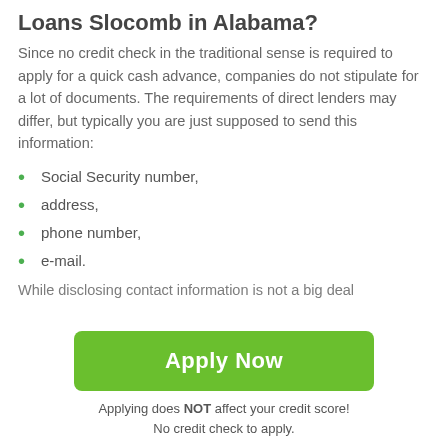Loans Slocomb in Alabama?
Since no credit check in the traditional sense is required to apply for a quick cash advance, companies do not stipulate for a lot of documents. The requirements of direct lenders may differ, but typically you are just supposed to send this information:
Social Security number,
address,
phone number,
e-mail.
While disclosing contact information is not a big deal
Apply Now
Applying does NOT affect your credit score!
No credit check to apply.